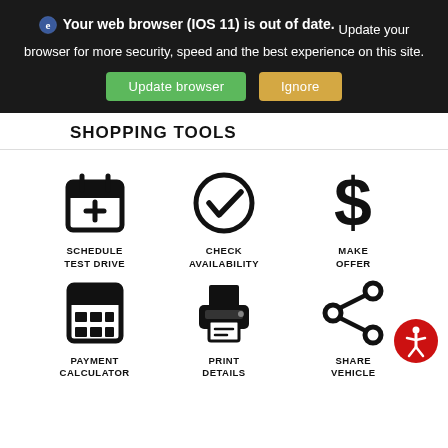Your web browser (IOS 11) is out of date. Update your browser for more security, speed and the best experience on this site.
Update browser
Ignore
SHOPPING TOOLS
[Figure (infographic): Six shopping tool icons in a 3x2 grid: Schedule Test Drive (calendar with plus), Check Availability (circle with checkmark), Make Offer (dollar sign), Payment Calculator (calculator), Print Details (printer), Share Vehicle (share icon)]